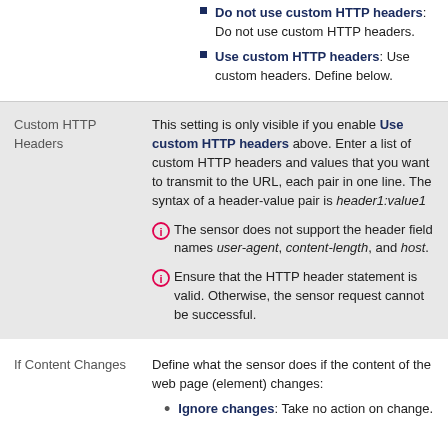Do not use custom HTTP headers: Do not use custom HTTP headers.
Use custom HTTP headers: Use custom headers. Define below.
Custom HTTP Headers
This setting is only visible if you enable Use custom HTTP headers above. Enter a list of custom HTTP headers and values that you want to transmit to the URL, each pair in one line. The syntax of a header-value pair is header1:value1
The sensor does not support the header field names user-agent, content-length, and host.
Ensure that the HTTP header statement is valid. Otherwise, the sensor request cannot be successful.
If Content Changes
Define what the sensor does if the content of the web page (element) changes:
Ignore changes: Take no action on change.